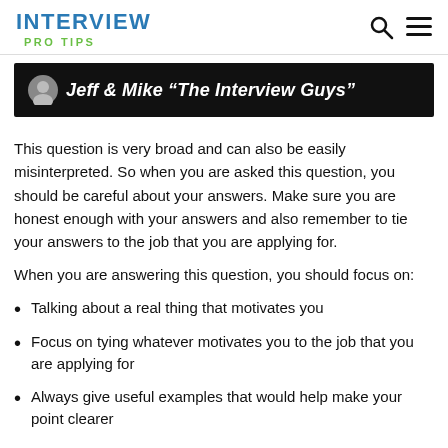INTERVIEW PRO TIPS
[Figure (photo): Banner image with dark background showing text: Jeff & Mike "The Interview Guys" with a small avatar icon on the left]
This question is very broad and can also be easily misinterpreted. So when you are asked this question, you should be careful about your answers. Make sure you are honest enough with your answers and also remember to tie your answers to the job that you are applying for.
When you are answering this question, you should focus on:
Talking about a real thing that motivates you
Focus on tying whatever motivates you to the job that you are applying for
Always give useful examples that would help make your point clearer